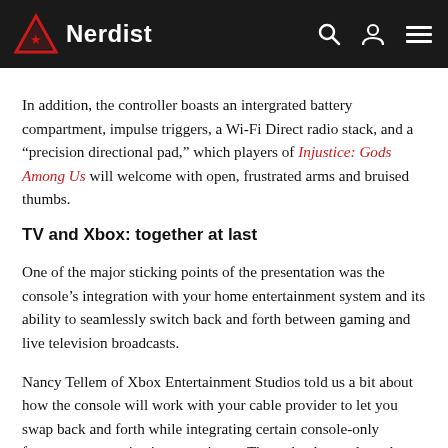Nerdist
In addition, the controller boasts an intergrated battery compartment, impulse triggers, a Wi-Fi Direct radio stack, and a “precision directional pad,” which players of Injustice: Gods Among Us will welcome with open, frustrated arms and bruised thumbs.
TV and Xbox: together at last
One of the major sticking points of the presentation was the console’s integration with your home entertainment system and its ability to seamlessly switch back and forth between gaming and live television broadcasts.
Nancy Tellem of Xbox Entertainment Studios told us a bit about how the console will work with your cable provider to let you swap back and forth while integrating certain console-only features to your viewing experience. Then, she dropped a rather unexpected bombshell. 343 Industries head honcho Bonnie Ross joined Soulja Nancy Tellem on the stage to reveal that they are so excited for the potential of television’s storytelling magic in conjunction with the Xbox One’s robust architecture that they will be producing a live